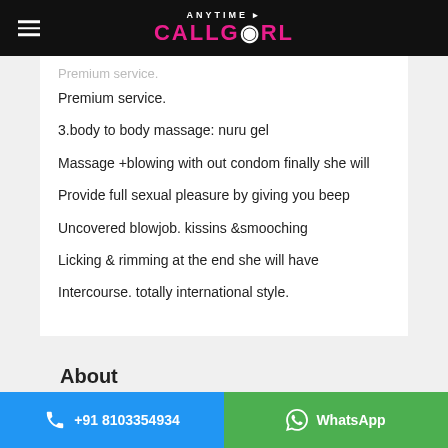ANYTIME CALLGIRL
Premium service.
3.body to body massage: nuru gel
Massage +blowing with out condom finally she will
Provide full sexual pleasure by giving you beep
Uncovered blowjob. kissins &smooching
Licking & rimming at the end she will have
Intercourse. totally international style.
About
+91 8103354934  WhatsApp